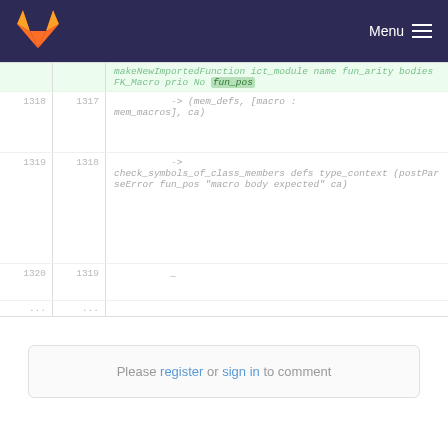Menu
[Figure (screenshot): GitLab code diff view showing OCaml source code lines 1317-1319 with syntax highlighting. A highlighted line shows 'makeNewImportedFunction ict_module name fun_arity bodies FK_Macro prio No fun_pos'. Lines 1318/1317 show '-> (mem_defs, [macro : mem_macros], ca)'. Lines 1319/1318 show '-> check_symbols_of_class_members defs type_context (postParseError fun_pos "macro body expected" ca)'. Line 1320/1319 shows '_'.]
Please register or sign in to comment